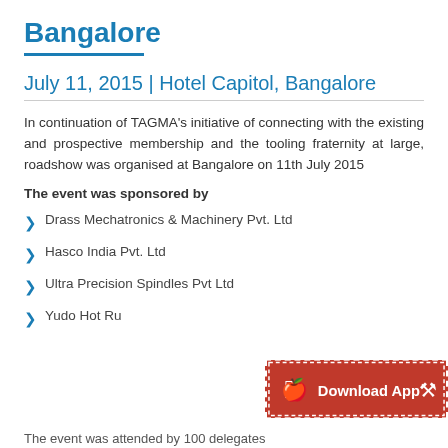Bangalore
July 11, 2015 | Hotel Capitol, Bangalore
In continuation of TAGMA's initiative of connecting with the existing and prospective membership and the tooling fraternity at large, roadshow was organised at Bangalore on 11th July 2015
The event was sponsored by
Drass Mechatronics & Machinery Pvt. Ltd
Hasco India Pvt. Ltd
Ultra Precision Spindles Pvt Ltd
Yudo Hot Ru...
[Figure (infographic): Red Download App banner with Apple and Android icons]
The event was attended by 100 delegates...